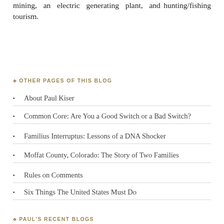mining, an electric generating plant, and hunting/fishing tourism.
OTHER PAGES OF THIS BLOG
About Paul Kiser
Common Core: Are You a Good Switch or a Bad Switch?
Familius Interruptus: Lessons of a DNA Shocker
Moffat County, Colorado: The Story of Two Families
Rules on Comments
Six Things The United States Must Do
Why We Are Here: A 65-Year Historical Perspective of the United States
PAUL'S RECENT BLOGS